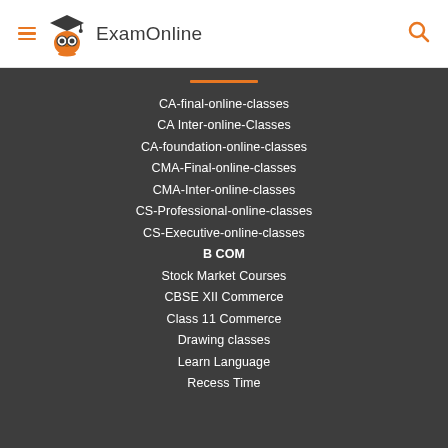ExamOnline
CA-final-online-classes
CA Inter-online-Classes
CA-foundation-online-classes
CMA-Final-online-classes
CMA-Inter-online-classes
CS-Professional-online-classes
CS-Executive-online-classes
B COM
Stock Market Courses
CBSE XII Commerce
Class 11 Commerce
Drawing classes
Learn Language
Recess Time